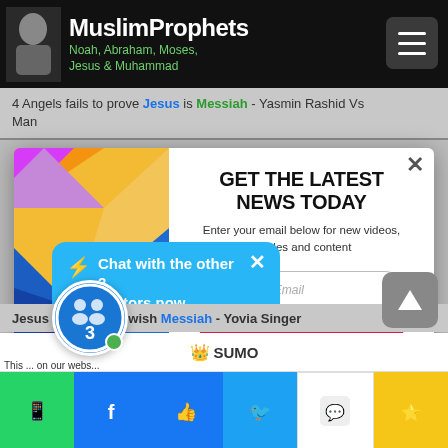MuslimProphets Noah, Abraham, Moses, Jesus & Muhammad
4 Angels fails to prove Jesus is Messiah - Yasmin Rashid vs Man
[Figure (screenshot): Modal popup with colorful geometric illustration on the left, and newsletter signup on the right with title GET THE LATEST NEWS TODAY, subtitle Enter your email below for new videos, articles and content, email input field, SUBSCRIBE NOW button, and No Thanks link]
⚡ Chat with the other 2 visitors now
Jesus is not the Jewish Messiah - Yovia Singer
3
🏆 SUMO
This ... on our webs...